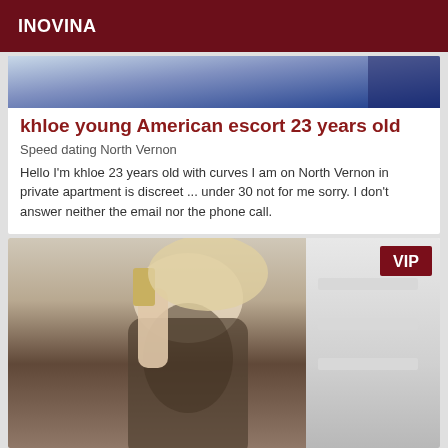INOVINA
[Figure (photo): Partial photo of a person, top portion cropped, blue item visible]
khloe young American escort 23 years old
Speed dating North Vernon
Hello I'm khloe 23 years old with curves I am on North Vernon in private apartment is discreet ... under 30 not for me sorry. I don't answer neither the email nor the phone call.
[Figure (photo): Blonde woman in patterned dress taking mirror selfie; VIP badge in top right corner]